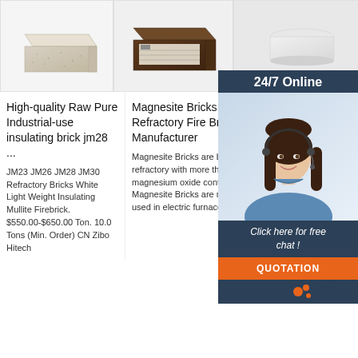[Figure (photo): Light grey/beige porous insulating firebrick on white background]
[Figure (photo): Dark brown magnesite refractory brick with label on white/grey background]
[Figure (photo): White refractory insulating brick on white background]
[Figure (photo): 24/7 Online customer service agent - woman with headset smiling, overlay panel with chat and quotation button]
High-quality Raw Pure Industrial-use insulating brick jm28 ...
JM23 JM26 JM28 JM30 Refractory Bricks White Light Weight Insulating Mullite Firebrick. $550.00-$650.00 Ton. 10.0 Tons (Min. Order) CN Zibo Hitech
Magnesite Bricks - RS Refractory Fire Bricks Manufacturer
Magnesite Bricks are basic refractory with more than 90% magnesium oxide content. Magnesite Bricks are mainly used in electric furnace
MULI INSU BRIC PRO
Mullite brick,h insulation brick,silica insulation brick, fire clay,insulation brick,alumina buuble brick,ceramic fiber blanket